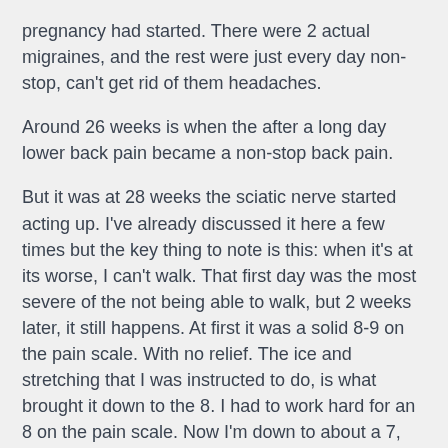pregnancy had started. There were 2 actual migraines, and the rest were just every day non-stop, can't get rid of them headaches.
Around 26 weeks is when the after a long day lower back pain became a non-stop back pain.
But it was at 28 weeks the sciatic nerve started acting up. I've already discussed it here a few times but the key thing to note is this: when it's at its worse, I can't walk. That first day was the most severe of the not being able to walk, but 2 weeks later, it still happens. At first it was a solid 8-9 on the pain scale. With no relief. The ice and stretching that I was instructed to do, is what brought it down to the 8. I had to work hard for an 8 on the pain scale. Now I'm down to about a 7, usually. First thing in the morning it's at it's absolute worst and I'm back up to that 8/9. After being up for an hour it goes down to a 6/7. It's one part loosening up the hip joint, and also just getting out of a laying down position. As the day progresses and I'm active (doctor appointments, and other basic activity) the pain increases. If I'm on my feet for more than 15 minutes here and there it goes back up to the 8/9. If I'm able to remain off my feet, I can keep it at